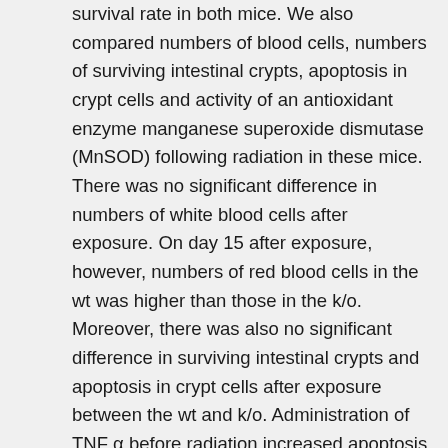survival rate in both mice. We also compared numbers of blood cells, numbers of surviving intestinal crypts, apoptosis in crypt cells and activity of an antioxidant enzyme manganese superoxide dismutase (MnSOD) following radiation in these mice. There was no significant difference in numbers of white blood cells after exposure. On day 15 after exposure, however, numbers of red blood cells in the wt was higher than those in the k/o. Moreover, there was also no significant difference in surviving intestinal crypts and apoptosis in crypt cells after exposure between the wt and k/o. Administration of TNF α before radiation increased apoptosis in the k/o intestine. Activities of MnSOD were lower in liver of the k/o than that of the wt. Moreover, we studied the expression of apoptosis-related proteins in intestinal epithelial cells along the crypt-villus axis after radiation. The Bc12 protein was constitutively expressed and its level was reduced by radiation in the wt. In contrast, Bc12 was not expressed in the k/o and radiation did not induce its expression. Our results suggest that TNF α endogenously-produced may play important roles in the radiation injury in mice.